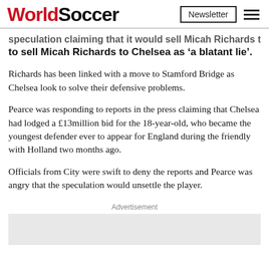WorldSoccer | Newsletter
speculation claiming that it would sell Micah Richards to Chelsea as 'a blatant lie'.
Richards has been linked with a move to Stamford Bridge as Chelsea look to solve their defensive problems.
Pearce was responding to reports in the press claiming that Chelsea had lodged a £13million bid for the 18-year-old, who became the youngest defender ever to appear for England during the friendly with Holland two months ago.
Officials from City were swift to deny the reports and Pearce was angry that the speculation would unsettle the player.
Advertisement